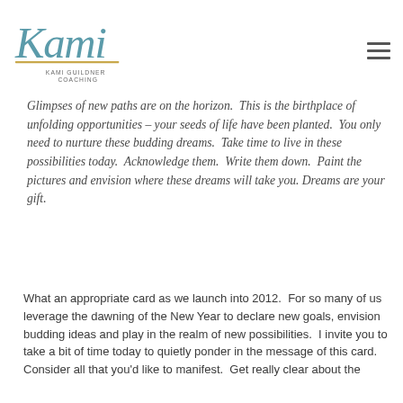[Figure (logo): Kami Guildner Coaching logo — stylized teal/blue script 'Kami' with a gold underline, and smaller text 'KAMI GUILDNER COACHING' beneath]
Glimpses of new paths are on the horizon.  This is the birthplace of unfolding opportunities – your seeds of life have been planted.  You only need to nurture these budding dreams.  Take time to live in these possibilities today.  Acknowledge them.  Write them down.  Paint the pictures and envision where these dreams will take you.  Dreams are your gift.
What an appropriate card as we launch into 2012.  For so many of us leverage the dawning of the New Year to declare new goals, envision budding ideas and play in the realm of new possibilities.  I invite you to take a bit of time today to quietly ponder in the message of this card.  Consider all that you'd like to manifest.  Get really clear about the